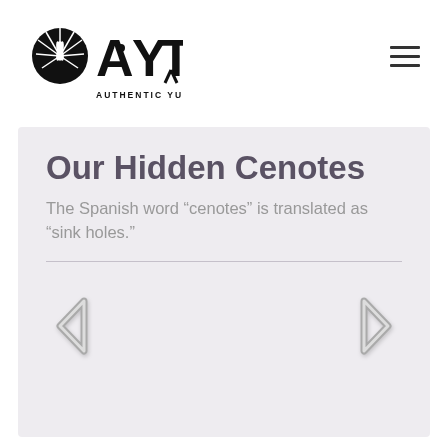[Figure (logo): Authentic Yucatan Tours (AYT) logo with agave plant graphic and text 'AUTHENTIC YUCATAN TOURS']
Our Hidden Cenotes
The Spanish word “cenotes” is translated as “sink holes.”
[Figure (infographic): Slider navigation area with left and right chevron arrows on a light gray background]